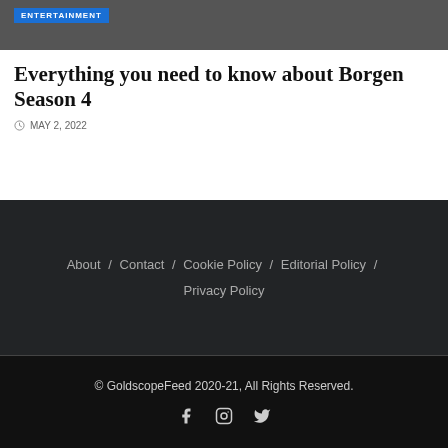[Figure (photo): Entertainment photo banner with ENTERTAINMENT badge/label in blue]
Everything you need to know about Borgen Season 4
MAY 2, 2022
About / Contact / Cookie Policy / Editorial Policy / Privacy Policy
© GoldscopeFeed 2020-21, All Rights Reserved.